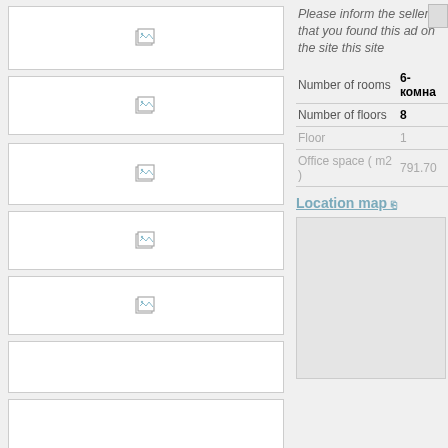[Figure (screenshot): Image placeholder box 1 with broken image icon]
[Figure (screenshot): Image placeholder box 2 with broken image icon]
[Figure (screenshot): Image placeholder box 3 with broken image icon]
[Figure (screenshot): Image placeholder box 4 with broken image icon]
[Figure (screenshot): Image placeholder box 5 with broken image icon]
[Figure (screenshot): Image placeholder box 6 (no icon)]
[Figure (screenshot): Image placeholder box 7 (no icon)]
[Figure (screenshot): Image placeholder box 8 with broken image icon]
[Figure (screenshot): Image placeholder box 9 (no icon)]
Please inform the seller that you found this ad on the site this site
|  |  |
| --- | --- |
| Number of rooms | 6-комна |
| Number of floors | 8 |
| Floor | 1 |
| Office space ( m2 ) | 791.70 |
Location map
[Figure (map): Location map placeholder]